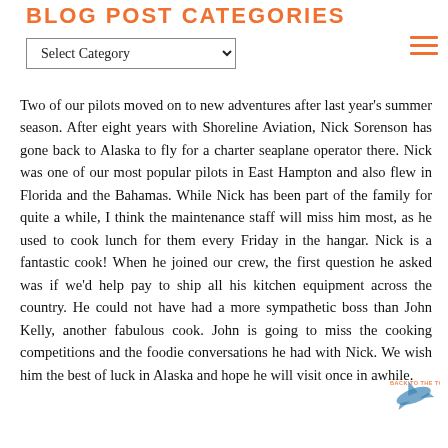BLOG POST CATEGORIES
Select Category
Two of our pilots moved on to new adventures after last year's summer season. After eight years with Shoreline Aviation, Nick Sorenson has gone back to Alaska to fly for a charter seaplane operator there. Nick was one of our most popular pilots in East Hampton and also flew in Florida and the Bahamas. While Nick has been part of the family for quite a while, I think the maintenance staff will miss him most, as he used to cook lunch for them every Friday in the hangar. Nick is a fantastic cook! When he joined our crew, the first question he asked was if we'd help pay to ship all his kitchen equipment across the country. He could not have had a more sympathetic boss than John Kelly, another fabulous cook. John is going to miss the cooking competitions and the foodie conversations he had with Nick. We wish him the best of luck in Alaska and hope he will visit once in awhile.